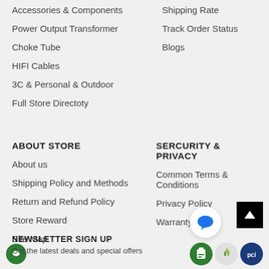Accessories & Components
Power Output Transformer
Choke Tube
HIFI Cables
3C & Personal & Outdoor
Full Store Directoty
Shipping Rate
Track Order Status
Blogs
ABOUT STORE
About us
Shipping Policy and Methods
Return and Refund Policy
Store Reward
Site Map
SERCURITY & PRIVACY
Common Terms & Conditions
Privacy Policy
Warranty
NEWSLETTER SIGN UP
Get the latest deals and special offers